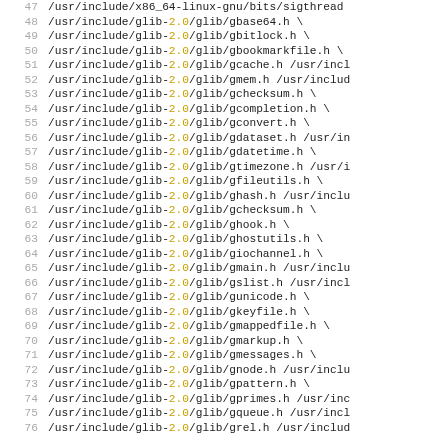Code listing lines 47-76 showing include paths for glib-2.0 headers